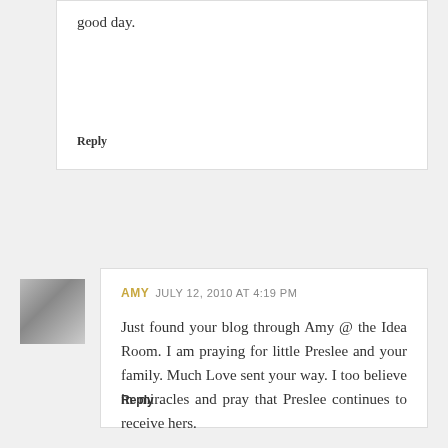good day.
Reply
[Figure (photo): Black and white photo of two babies/children]
AMY JULY 12, 2010 AT 4:19 PM
Just found your blog through Amy @ the Idea Room. I am praying for little Preslee and your family. Much Love sent your way. I too believe in miracles and pray that Preslee continues to receive hers.

Amy
Reply